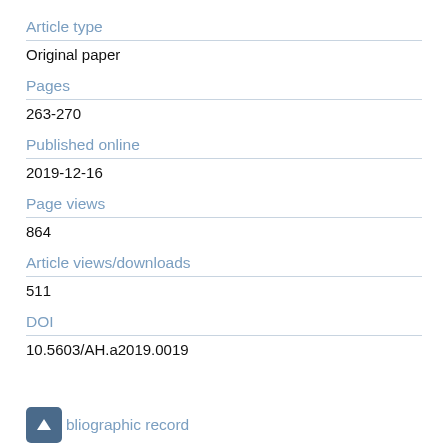Article type
Original paper
Pages
263-270
Published online
2019-12-16
Page views
864
Article views/downloads
511
DOI
10.5603/AH.a2019.0019
bibliographic record